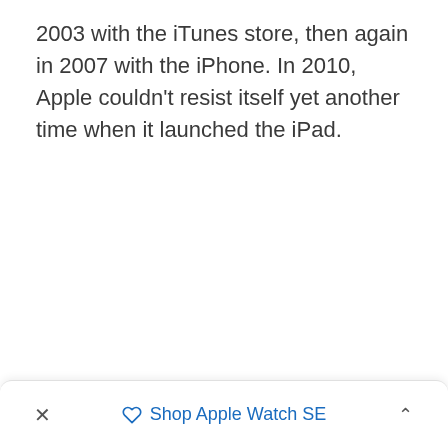2003 with the iTunes store, then again in 2007 with the iPhone. In 2010, Apple couldn't resist itself yet another time when it launched the iPad.
× Shop Apple Watch SE ^